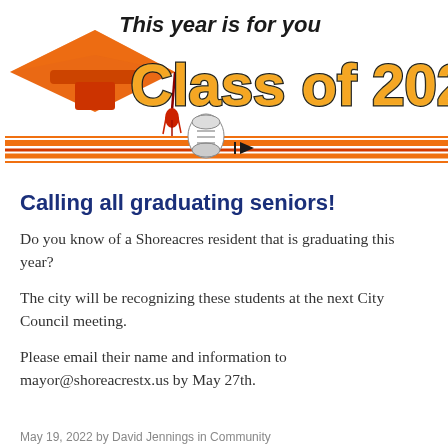[Figure (illustration): Graduation themed banner with an orange graduation cap on the left, script text 'This year is for you' at the top right, large bold orange text 'Class of 2022' in the center-right, a decorative horizontal striped line (orange, red, orange) spanning the full width with a diploma scroll icon in the center.]
Calling all graduating seniors!
Do you know of a Shoreacres resident that is graduating this year?
The city will be recognizing these students at the next City Council meeting.
Please email their name and information to mayor@shoreacrestx.us by May 27th.
May 19, 2022 by David Jennings in Community